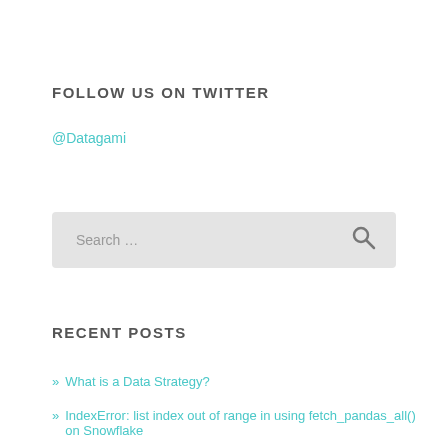FOLLOW US ON TWITTER
@Datagami
Search …
RECENT POSTS
» What is a Data Strategy?
» IndexError: list index out of range in using fetch_pandas_all() on Snowflake
» Using Snowflake Key Pair Authentication with Tableau